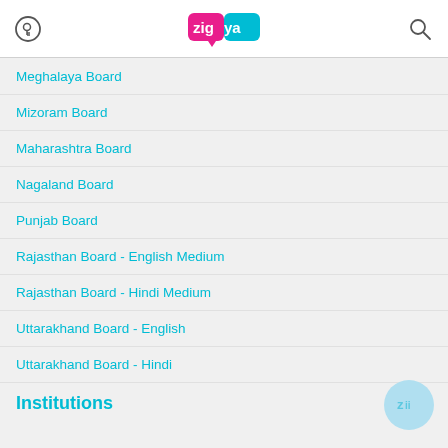Zigya
Meghalaya Board
Mizoram Board
Maharashtra Board
Nagaland Board
Punjab Board
Rajasthan Board - English Medium
Rajasthan Board - Hindi Medium
Uttarakhand Board - English
Uttarakhand Board - Hindi
Institutions